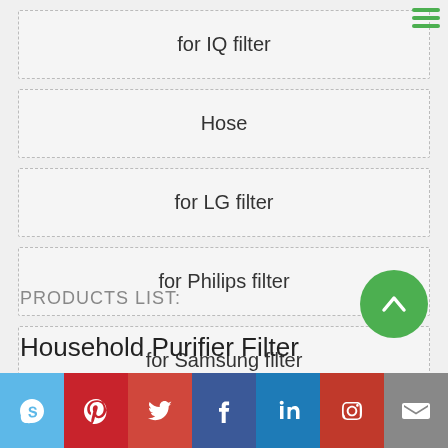for IQ filter
Hose
for LG filter
for Philips filter
for Samsung filter
PRODUCTS LIST:
Household Purifier Filter
Social icons: Skype, Pinterest, Twitter, Facebook, LinkedIn, Instagram, Email